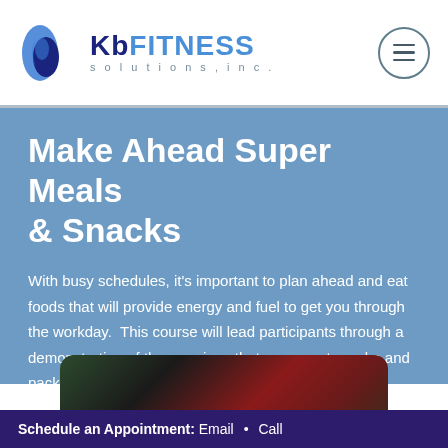KbFITNESS solutions inc.
Make Ahead Super Meals & Snacks
With busy schedules, it’s important to plan ahead and eat foods that will provide energy and fuel to get you through the workday.  This course will lead participants through a demonstration of three recipes that are easy-to-make and packed with power foods.
[Figure (photo): Photo of candy canes and holiday food items on a dark background]
Schedule an Appointment: Email • Call